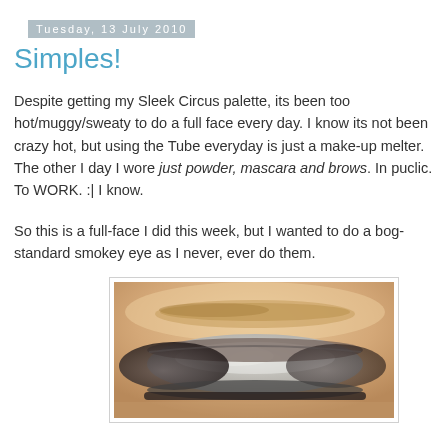Tuesday, 13 July 2010
Simples!
Despite getting my Sleek Circus palette, its been too hot/muggy/sweaty to do a full face every day. I know its not been crazy hot, but using the Tube everyday is just a make-up melter. The other I day I wore just powder, mascara and brows. In puclic. To WORK. :| I know.
So this is a full-face I did this week, but I wanted to do a bog-standard smokey eye as I never, ever do them.
[Figure (photo): Close-up photo of a closed eye with a smokey eye makeup look featuring silver/grey shimmer on the lid and dark charcoal/black shadow blended into the crease and lower lash line, with a light blonde eyebrow visible above.]